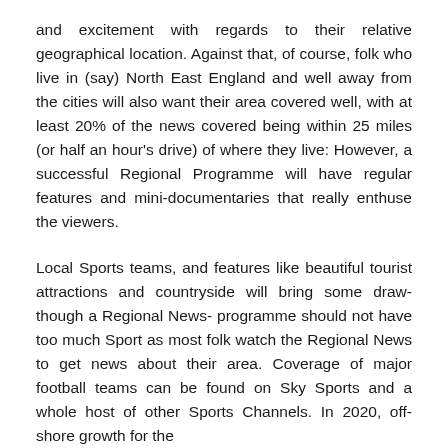and excitement with regards to their relative geographical location. Against that, of course, folk who live in (say) North East England and well away from the cities will also want their area covered well, with at least 20% of the news covered being within 25 miles (or half an hour's drive) of where they live: However, a successful Regional Programme will have regular features and mini-documentaries that really enthuse the viewers.
Local Sports teams, and features like beautiful tourist attractions and countryside will bring some draw- though a Regional News- programme should not have too much Sport as most folk watch the Regional News to get news about their area. Coverage of major football teams can be found on Sky Sports and a whole host of other Sports Channels. In 2020, off-shore growth for the